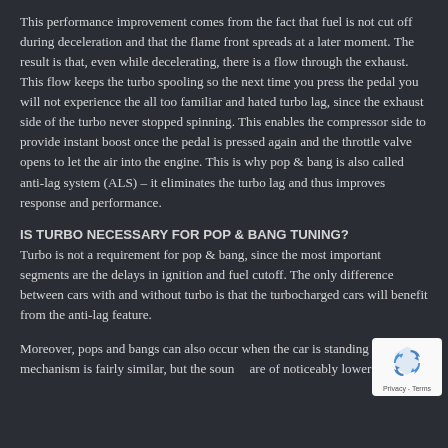This performance improvement comes from the fact that fuel is not cut off during deceleration and that the flame front spreads at a later moment. The result is that, even while decelerating, there is a flow through the exhaust. This flow keeps the turbo spooling so the next time you press the pedal you will not experience the all too familiar and hated turbo lag, since the exhaust side of the turbo never stopped spinning. This enables the compressor side to provide instant boost once the pedal is pressed again and the throttle valve opens to let the air into the engine. This is why pop & bang is also called anti-lag system (ALS) – it eliminates the turbo lag and thus improves response and performance.
IS TURBO NECESSARY FOR POP & BANG TUNING?
Turbo is not a requirement for pop & bang, since the most important segments are the delays in ignition and fuel cutoff. The only difference between cars with and without turbo is that the turbocharged cars will benefit from the anti-lag feature.
Moreover, pops and bangs can also occur when the car is standing still. The mechanism is fairly similar, but the sounds are of noticeably lower intensity.
[Figure (logo): reCAPTCHA badge with blue recycling arrows logo and Privacy - Terms text]